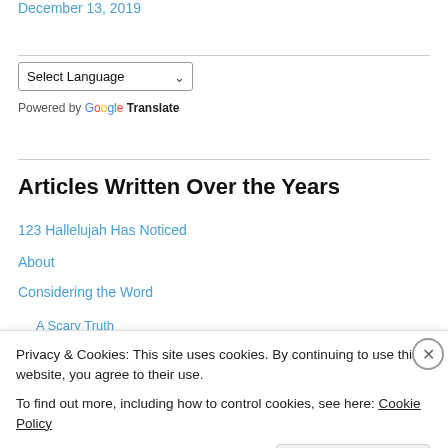December 13, 2019
[Figure (other): Select Language dropdown with Google Translate branding]
Articles Written Over the Years
123 Hallelujah Has Noticed
About
Considering the Word
A Scary Truth
Privacy & Cookies: This site uses cookies. By continuing to use this website, you agree to their use.
To find out more, including how to control cookies, see here: Cookie Policy